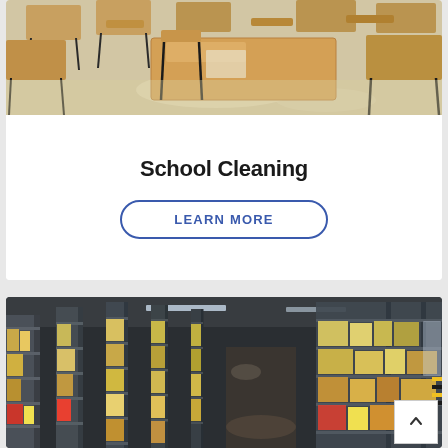[Figure (photo): Classroom with wooden student desks and chairs on a shiny floor, viewed from above at an angle]
School Cleaning
LEARN MORE
[Figure (photo): Large warehouse interior with tall metal shelving racks stocked with boxes and pallets, perspective view down the aisle]